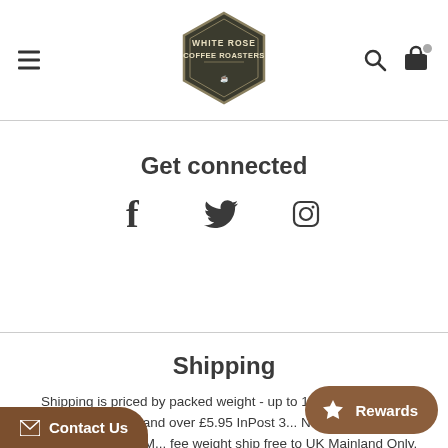[Figure (logo): White Rose Coffee Roasters hexagonal badge logo in dark olive/black with text 'WHITE ROSE COFFEE ROASTERS' and a coffee cup icon]
Get connected
[Figure (other): Social media icons: Facebook (f), Twitter (bird), Instagram (camera outline)]
Shipping
Shipping is priced by packed weight - up to 1.9kg costs £3.90 InPost 3 day, 2kg and over £5.95 InPost 3... Next Working Day. (Working days are M... fee weight ship free to UK Mainland Only.